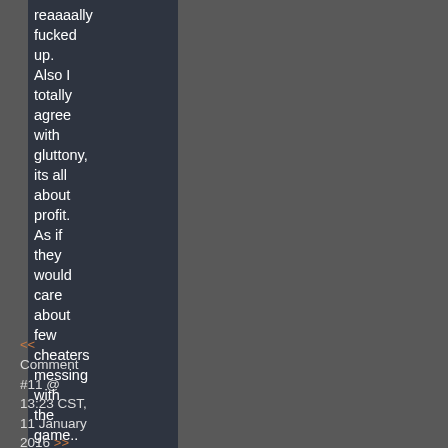reaaaally fucked up. Also I totally agree with gluttony, its all about profit. As if they would care about few cheaters messing with the game..
<< Comment #11 @ 13:23 CST, 11 January 2016 >> (Link,